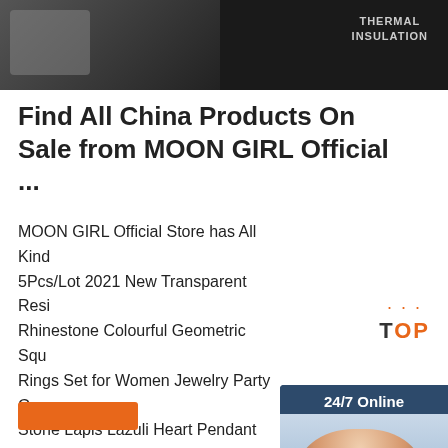[Figure (photo): Dark banner with thermal insulation product image and text 'THERMAL INSULATION']
Find All China Products On Sale from MOON GIRL Official ...
MOON GIRL Official Store has All Kinds 5Pcs/Lot 2021 New Transparent Resin Rhinestone Colourful Geometric Square Rings Set for Women Jewelry Party G... Stone Lapis Lazuli Heart Pendant Choker Necklace for Women Brass Gold Plated Statement Collier Femme Party Jewelry,Stainless Steel Chain Initial Pendant Necklace for Women Fashion Custom Name Choker Collier Femme ...
[Figure (photo): Customer service chat widget showing a woman with headset, '24/7 Online' header, 'Click here for free chat!' text, and QUOTATION button]
[Figure (logo): TOP logo with orange dots and orange text]